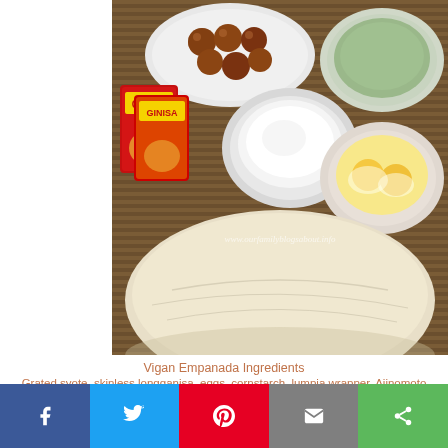[Figure (photo): Overhead photo of Vigan Empanada ingredients on a bamboo mat: skinless longganisa meatballs on a white plate, grated green syote in a white bowl, Ajinomoto Ginisa mix packets, a bowl of cornstarch, a bowl with two raw eggs, and a large lumpia/empanada wrapper in the foreground. Watermark reads www.ourfamilyblogsabout.info]
Vigan Empanada Ingredients
Grated syote, skinless longganisa, eggs, cornstarch, lumpia wrapper, Ajinomoto Ginisa mix